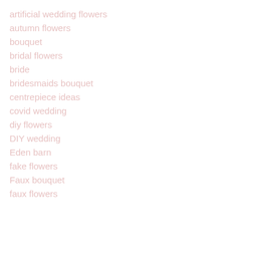artificial wedding flowers
autumn flowers
bouquet
bridal flowers
bride
bridesmaids bouquet
centrepiece ideas
covid wedding
diy flowers
DIY wedding
Eden barn
fake flowers
Faux bouquet
faux flowers